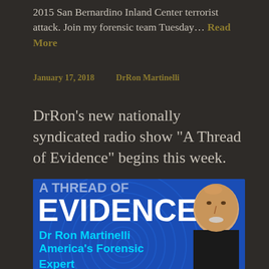2015 San Bernardino Inland Center terrorist attack. Join my forensic team Tuesday… Read More
January 17, 2018    DrRon Martinelli
DrRon's new nationally syndicated radio show "A Thread of Evidence" begins this week.
[Figure (photo): Blue fingerprint background with large white text 'EVIDENCE' and cyan text 'Dr Ron Martinelli America's Forensic Expert' with a photo of a bald man with a white goatee on the right side.]